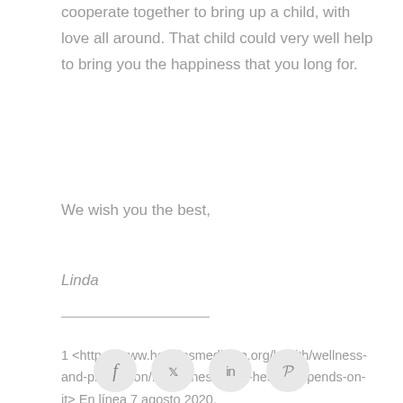cooperate together to bring up a child, with love all around. That child could very well help to bring you the happiness that you long for.
We wish you the best,
Linda
1 <https://www.hopkinsmedicine.org/health/wellness-and-prevention/forgiveness-your-health-depends-on-it> En línea 7 agosto 2020.
2 Mt 6:15
[Figure (other): Social media sharing icons: Facebook (f), Twitter (bird), LinkedIn (in), Pinterest (P) — circular gray buttons]